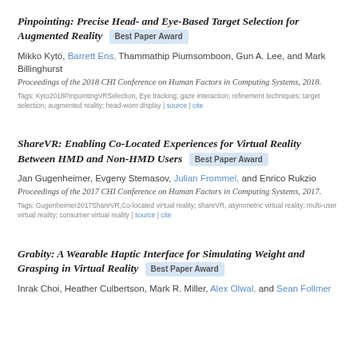Pinpointing: Precise Head- and Eye-Based Target Selection for Augmented Reality [Best Paper Award]
Mikko Kytö, Barrett Ens, Thammathip Piumsomboon, Gun A. Lee, and Mark Billinghurst
Proceedings of the 2018 CHI Conference on Human Factors in Computing Systems, 2018.
Tags: Kyto2018PinpointingVRSelection, Eye tracking; gaze interaction; refinement techniques; target selection; augmented reality; head-worn display | source | cite
ShareVR: Enabling Co-Located Experiences for Virtual Reality Between HMD and Non-HMD Users [Best Paper Award]
Jan Gugenheimer, Evgeny Stemasov, Julian Frommel, and Enrico Rukzio
Proceedings of the 2017 CHI Conference on Human Factors in Computing Systems, 2017.
Tags: Gugenheimer2017ShareVR,Co-located virtual reality; shareVR, asymmetric virtual reality; multi-user virtual reality; consumer virtual reality | source | cite
Grabity: A Wearable Haptic Interface for Simulating Weight and Grasping in Virtual Reality [Best Paper Award]
Inrak Choi, Heather Culbertson, Mark R. Miller, Alex Olwal, and Sean Follmer